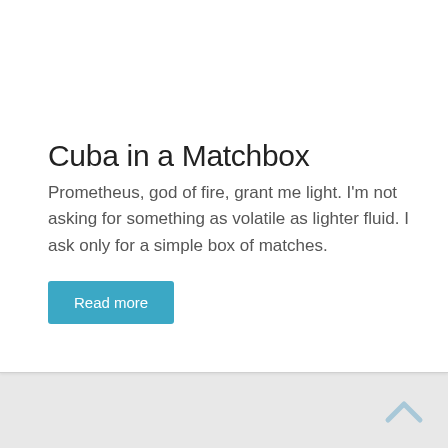Cuba in a Matchbox
Prometheus, god of fire, grant me light. I'm not asking for something as volatile as lighter fluid. I ask only for a simple box of matches.
Read more